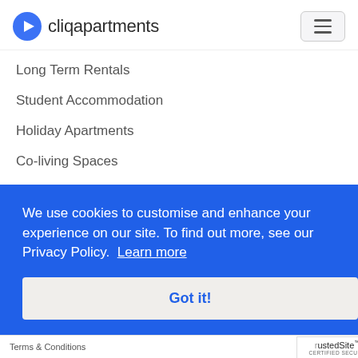cliqapartments
Long Term Rentals
Student Accommodation
Holiday Apartments
Co-living Spaces
Medical Accommodation
All Apartments
We use cookies to customise and enhance your experience on our site. To find out more, see our Privacy Policy.  Learn more
Got it!
Terms & Conditions